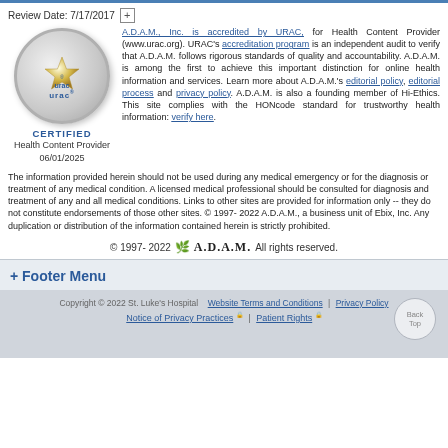Review Date: 7/17/2017
[Figure (logo): URAC certified health content provider badge - circular silver badge with gold star and URAC text, labeled CERTIFIED Health Content Provider 06/01/2025]
A.D.A.M., Inc. is accredited by URAC, for Health Content Provider (www.urac.org). URAC's accreditation program is an independent audit to verify that A.D.A.M. follows rigorous standards of quality and accountability. A.D.A.M. is among the first to achieve this important distinction for online health information and services. Learn more about A.D.A.M.'s editorial policy, editorial process and privacy policy. A.D.A.M. is also a founding member of Hi-Ethics. This site complies with the HONcode standard for trustworthy health information: verify here.
The information provided herein should not be used during any medical emergency or for the diagnosis or treatment of any medical condition. A licensed medical professional should be consulted for diagnosis and treatment of any and all medical conditions. Links to other sites are provided for information only -- they do not constitute endorsements of those other sites. © 1997- 2022 A.D.A.M., a business unit of Ebix, Inc. Any duplication or distribution of the information contained herein is strictly prohibited.
© 1997- 2022 A.D.A.M. All rights reserved.
+ Footer Menu
Copyright © 2022 St. Luke's Hospital | Website Terms and Conditions | Privacy Policy | Notice of Privacy Practices | Patient Rights